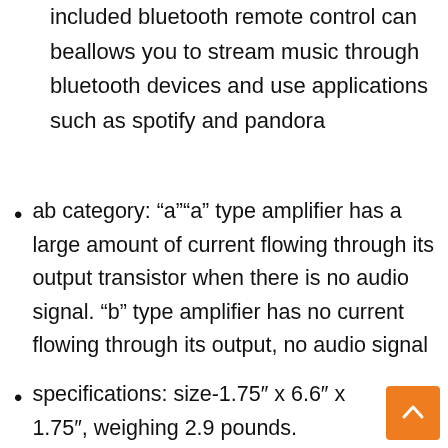included bluetooth remote control can beallows you to stream music through bluetooth devices and use applications such as spotify and pandora
ab category: “a”“a” type amplifier has a large amount of current flowing through its output transistor when there is no audio signal. “b” type amplifier has no current flowing through its output, no audio signal
specifications: size-1.75″ x 6.6″ x 1.75″, weighing 2.9 pounds.